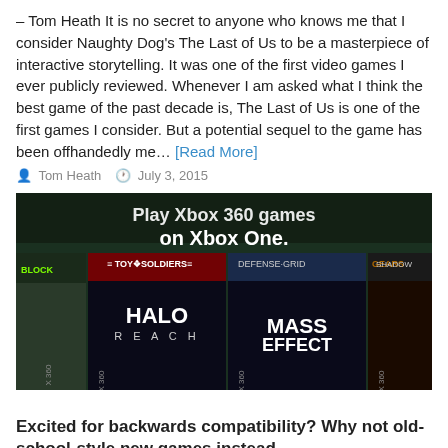– Tom Heath It is no secret to anyone who knows me that I consider Naughty Dog's The Last of Us to be a masterpiece of interactive storytelling. It was one of the first video games I ever publicly reviewed. Whenever I am asked what I think the best game of the past decade is, The Last of Us is one of the first games I consider. But a potential sequel to the game has been offhandedly me... [Read More]
Tom Heath   July 3, 2015
[Figure (photo): Xbox One backwards compatibility promotional image showing Xbox 360 game covers including Halo Reach, Mass Effect, and Borderlands with text 'Play Xbox 360 games on Xbox One.']
Excited for backwards compatibility? Why not old-school-style new games instead.
Feature
– Gordon Starr With the recent release of the Xbox One and